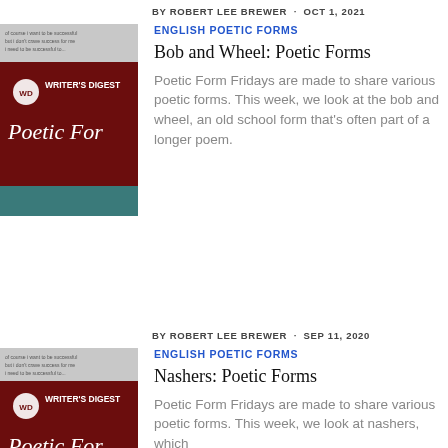BY ROBERT LEE BREWER · OCT 1, 2021
ENGLISH POETIC FORMS
[Figure (photo): Writer's Digest Poetic Forms book cover thumbnail]
Bob and Wheel: Poetic Forms
Poetic Form Fridays are made to share various poetic forms. This week, we look at the bob and wheel, an old school form that's often part of a longer poem.
BY ROBERT LEE BREWER · SEP 11, 2020
ENGLISH POETIC FORMS
[Figure (photo): Writer's Digest Poetic Forms book cover thumbnail]
Nashers: Poetic Forms
Poetic Form Fridays are made to share various poetic forms. This week, we look at nashers, which